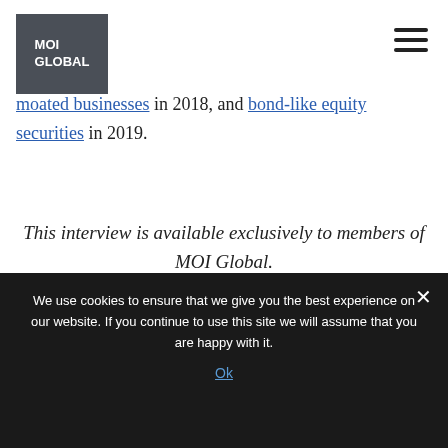MOI GLOBAL
moated businesses in 2018, and bond-like equity securities in 2019.
This interview is available exclusively to members of MOI Global.
Members, log in below to access the full session.
We use cookies to ensure that we give you the best experience on our website. If you continue to use this site we will assume that you are happy with it. Ok